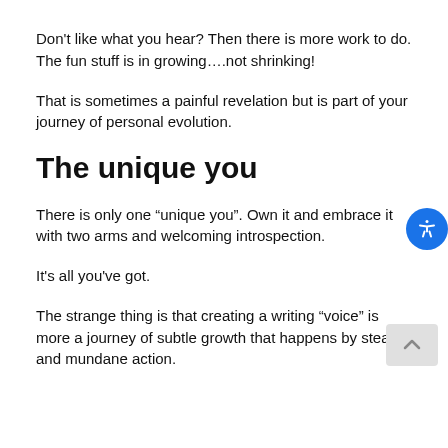Don’t like what you hear? Then there is more work to do. The fun stuff is in growing….not shrinking!
That is sometimes a painful revelation but is part of your journey of personal evolution.
The unique you
There is only one “unique you”. Own it and embrace it with two arms and welcoming introspection.
It’s all you’ve got.
The strange thing is that creating a writing “voice” is more a journey of subtle growth that happens by stealth and mundane action.